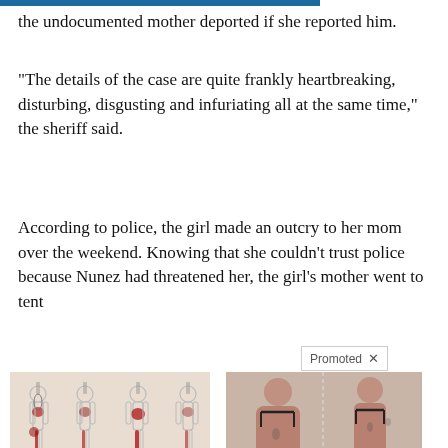the undocumented mother deported if she reported him.
“The details of the case are quite frankly heartbreaking, disturbing, disgusting and infuriating all at the same time,” the sheriff said.
According to police, the girl made an outcry to her mom over the weekend. Knowing that she couldn’t trust police because Nunez had threatened her, the girl’s mother went to t…ent
[Figure (photo): Medical illustration showing four body silhouettes highlighting sciatic nerve pain areas in red along the leg and hip]
Adults Over 50: Here’s The Hidden Cause Of Your Sciatic Nerve Pain
🔥 383
[Figure (photo): Before and after photos of a woman showing weight loss results]
These 2 Vegetables Kill Your Belly And Arm Fat Overnight
🔥 4,110